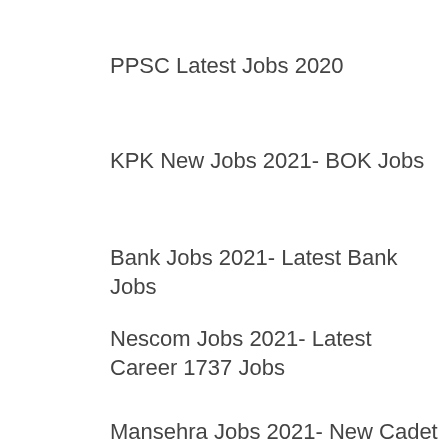PPSC Latest Jobs 2020
KPK New Jobs 2021- BOK Jobs
Bank Jobs 2021- Latest Bank Jobs
Nescom Jobs 2021- Latest Career 1737 Jobs
Mansehra Jobs 2021- New Cadet College